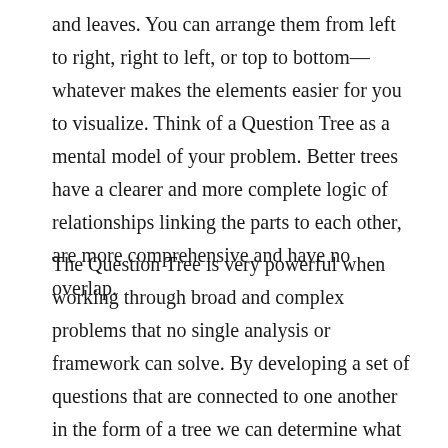and leaves. You can arrange them from left to right, right to left, or top to bottom— whatever makes the elements easier for you to visualize. Think of a Question Tree as a mental model of your problem. Better trees have a clearer and more complete logic of relationships linking the parts to each other, are more comprehensive and have no overlap.
The Question Tree is very powerful when working through broad and complex problems that no single analysis or framework can solve. By developing a set of questions that are connected to one another in the form of a tree we can determine what data analysis is needed, which can help us break out of the habit of using the same analysis tool even when it is a bad one for the job.